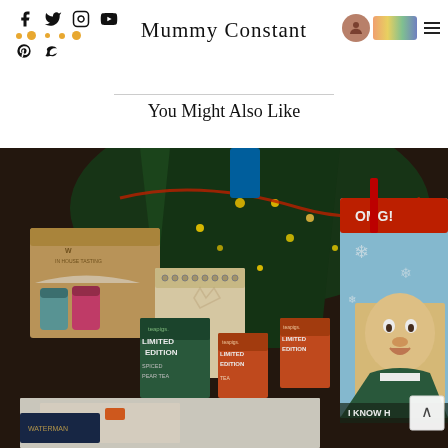Mummy Constant — blog header with social icons and navigation
You Might Also Like
[Figure (photo): Christmas gift hamper photo showing boxes of Teapigs Limited Edition Spiced Pear Tea, craft beer cans, a spiral notebook, and an Elf movie Christmas card with Will Ferrell, set underneath a decorated Christmas tree with fairy lights and red tinsel.]